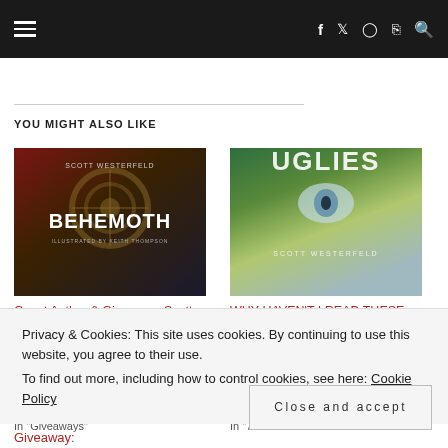Navigation bar with hamburger menu and social icons (f, twitter, instagram, rss, search)
YOU MIGHT ALSO LIKE
[Figure (photo): Book cover: Behemoth by Scott Westerfeld, illustrated by Keith Thompson. Dark steampunk mechanical imagery.]
Guest Author & Giveaway: Scott Westerfeld on the Leviathan Series
In "Giveaways"
[Figure (photo): Book cover: Uglies by Scott Westerfeld. Green foliage with a face and the title UGLIES in white letters.]
WHY HAVEN'T I READ THESE BOOKS?!: The Uglies Trilogy by Scott Westerfeld
In "7 Rated
Privacy & Cookies: This site uses cookies. By continuing to use this website, you agree to their use.
To find out more, including how to control cookies, see here: Cookie Policy
Close and accept
Giveaway: